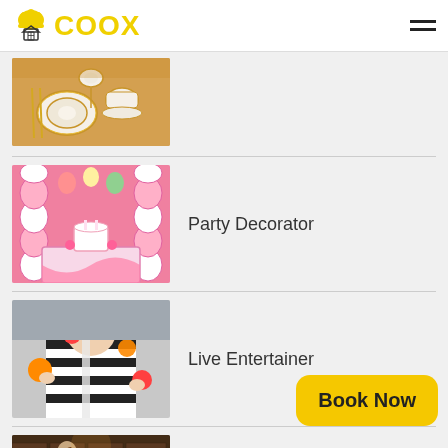COOX
[Figure (photo): Partial view of elegant table setting with gold and white dinnerware]
[Figure (photo): Party decoration with pink balloon columns and decorated table]
Party Decorator
[Figure (photo): Live entertainer clown juggling colorful balls, wearing striped outfit]
Live Entertainer
[Figure (photo): Live singer guitarist performing]
Live Singer Guitarist